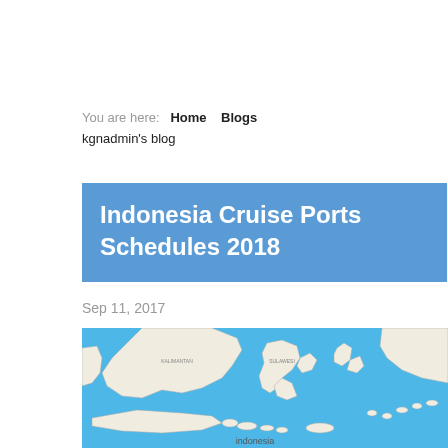You are here:  Home  Blogs  kgnadmin's blog
Indonesia Cruise Ports Schedules 2018
Sep 11, 2017
[Figure (map): Map of Indonesia showing islands and surrounding seas in blue and white]